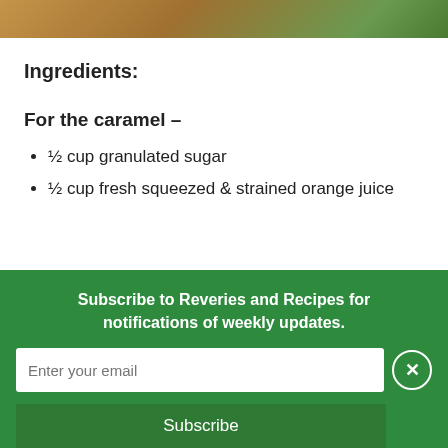[Figure (photo): Top portion of a food photograph showing herbs on a wooden surface]
Ingredients:
For the caramel –
½ cup granulated sugar
½ cup fresh squeezed & strained orange juice
Subscribe to Reveries and Recipes for notifications of weekly updates.